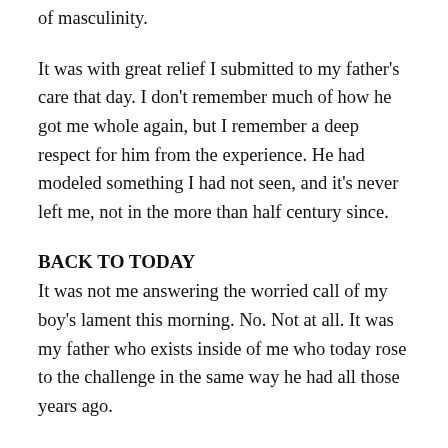of masculinity.
It was with great relief I submitted to my father's care that day. I don't remember much of how he got me whole again, but I remember a deep respect for him from the experience. He had modeled something I had not seen, and it's never left me, not in the more than half century since.
BACK TO TODAY
It was not me answering the worried call of my boy's lament this morning. No. Not at all. It was my father who exists inside of me who today rose to the challenge in the same way he had all those years ago.
It is he who calmly took charge and without judgment met the lament of his[...]